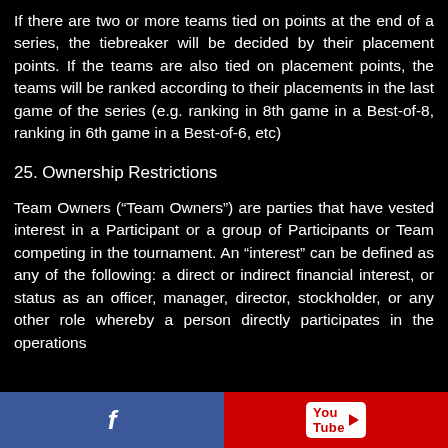If there are two or more teams tied on points at the end of a series, the tiebreaker will be decided by their placement points. If the teams are also tied on placement points, the teams will be ranked according to their placements in the last game of the series (e.g. ranking in 8th game in a Best-of-8, ranking in 6th game in a Best-of-6, etc)
25. Ownership Restrictions
Team Owners (“Team Owners”) are parties that have vested interest in a Participant or a group of Participants or Team competing in the tournament. An “interest” can be defined as any of the following: a direct or indirect financial interest, or status as an officer, manager, director, stockholder, or any other role whereby a person directly participates in the operations
f  You Tube